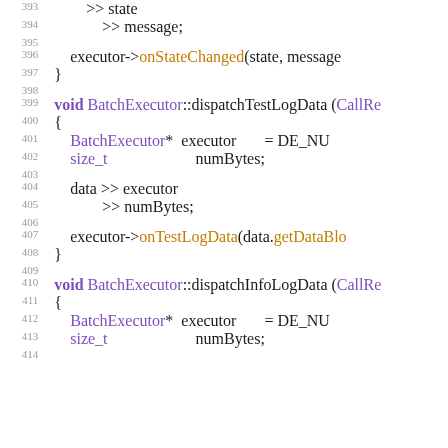Source code listing lines 393-414, C++ BatchExecutor dispatch methods